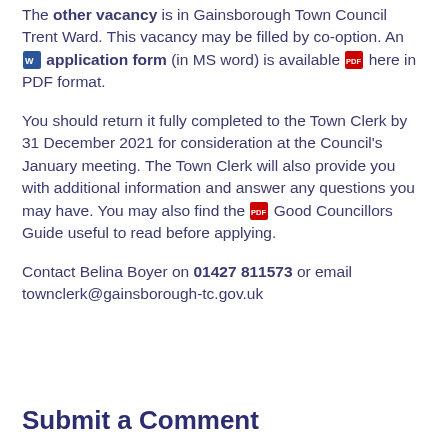The other vacancy is in Gainsborough Town Council Trent Ward. This vacancy may be filled by co-option. An [icon] application form (in MS word) is available [icon] here in PDF format.
You should return it fully completed to the Town Clerk by 31 December 2021 for consideration at the Council's January meeting. The Town Clerk will also provide you with additional information and answer any questions you may have. You may also find the [icon] Good Councillors Guide useful to read before applying.
Contact Belina Boyer on 01427 811573 or email townclerk@gainsborough-tc.gov.uk
Submit a Comment